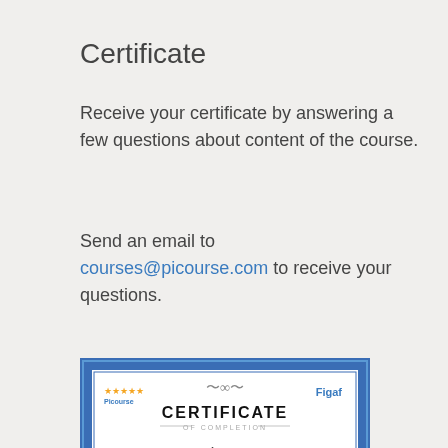Certificate
Receive your certificate by answering a few questions about content of the course.
Send an email to courses@picourse.com to receive your questions.
[Figure (illustration): Certificate of Completion sample showing 'CERTIFICATE OF COMPLETION' heading, name Daniel Graversen, SAP PI course text, with Picourse and Figaf logos and decorative blue border]